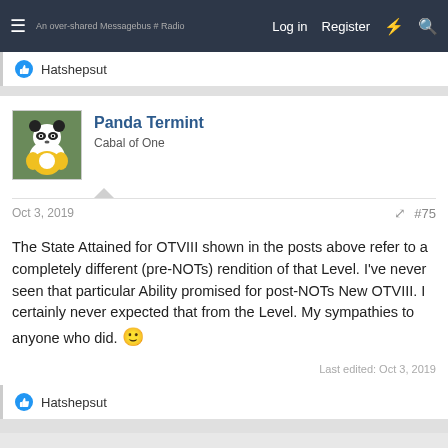Log in  Register
Hatshepsut
Panda Termint
Cabal of One
Oct 3, 2019  #75
The State Attained for OTVIII shown in the posts above refer to a completely different (pre-NOTs) rendition of that Level. I've never seen that particular Ability promised for post-NOTs New OTVIII. I certainly never expected that from the Level. My sympathies to anyone who did. 🙂
Last edited: Oct 3, 2019
Hatshepsut